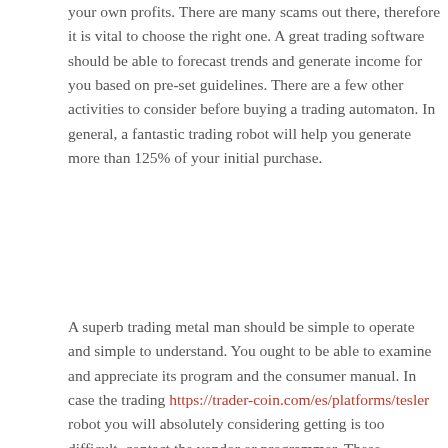your own profits. There are many scams out there, therefore it is vital to choose the right one. A great trading software should be able to forecast trends and generate income for you based on pre-set guidelines. There are a few other activities to consider before buying a trading automaton. In general, a fantastic trading robot will help you generate more than 125% of your initial purchase.
A superb trading metal man should be simple to operate and simple to understand. You ought to be able to examine and appreciate its program and the consumer manual. In case the trading https://trader-coin.com/es/platforms/tesler robot you will absolutely considering getting is too difficult, contact the vendor or programmer. These professionals will help you choose the best option. These kinds of programs likewise allow you to monitor your profits. If you’re not really sure how to use a trading software, you can always check with an expert.
Before investing your money in a trading software, make sure that you simply mentally prepared for mental ups and downs. A fantastic strategy needs to be based on the strategies utilized by robot. The best robot may have many different options to suit your tastes. Regardless of the experience level, the software needs to be